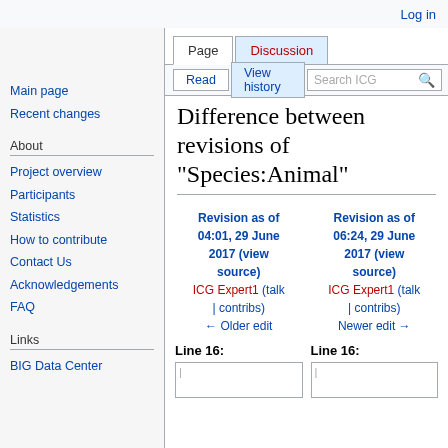Log in
Main page
Recent changes
About
Project overview
Participants
Statistics
How to contribute
Contact Us
Acknowledgements
FAQ
Links
BIG Data Center
Difference between revisions of "Species:Animal"
| Revision as of 04:01, 29 June 2017 (view source) | Revision as of 06:24, 29 June 2017 (view source) |
| --- | --- |
| ICG Expert1 (talk | contribs) | ICG Expert1 (talk | contribs) |
| ← Older edit | Newer edit → |
| Line 16: | Line 16: |